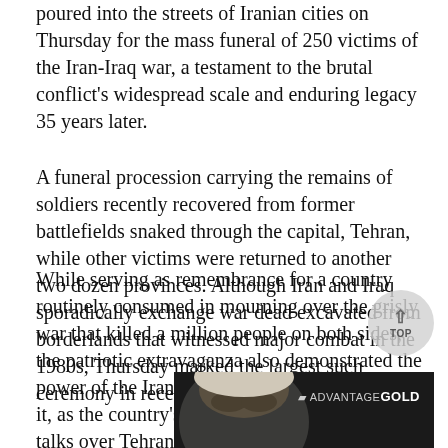poured into the streets of Iranian cities on Thursday for the mass funeral of 250 victims of the Iran-Iraq war, a testament to the brutal conflict's widespread scale and enduring legacy 35 years later.
A funeral procession carrying the remains of soldiers recently recovered from former battlefields snaked through the capital, Tehran, while other victims were returned to another two dozen provinces. Although Iran and Iraq sporadically exchange war dead excavated from borderlands that witnessed major combat in the 1980s, Thursday marked the largest such ceremony in recent years.
While serving as remembrance for a country routinely consumed in mourning over the grisly war that killed a million people on both sides, the patriotic extravaganza also demonstrated the power of the Iranian hard-liners who organized it, as the country's diplomats met in Vienna for talks over Tehran's tattered nuclear deal.
[Figure (photo): Partial view of a person's face, advertisement image with ADVANTAGE GOLD branding]